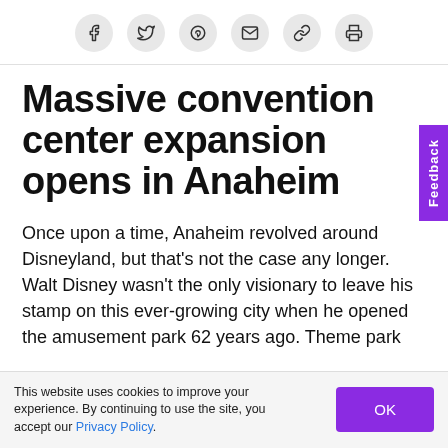[Figure (other): Social sharing icon bar with Facebook, Twitter, Pinterest, Email, Link, and Print icons in circular grey buttons]
Massive convention center expansion opens in Anaheim
Once upon a time, Anaheim revolved around Disneyland, but that’s not the case any longer. Walt Disney wasn’t the only visionary to leave his stamp on this ever-growing city when he opened the amusement park 62 years ago. Theme park
This website uses cookies to improve your experience. By continuing to use the site, you accept our Privacy Policy.